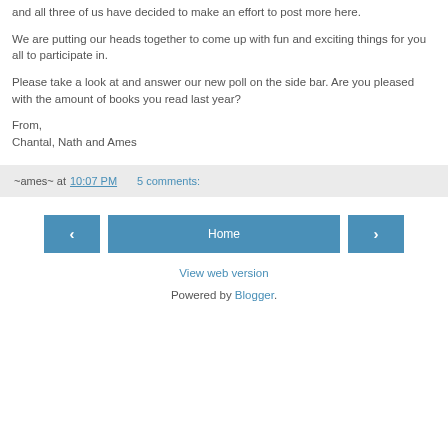and all three of us have decided to make an effort to post more here.
We are putting our heads together to come up with fun and exciting things for you all to participate in.
Please take a look at and answer our new poll on the side bar. Are you pleased with the amount of books you read last year?
From,
Chantal, Nath and Ames
~ames~ at 10:07 PM   5 comments:
‹   Home   ›
View web version
Powered by Blogger.